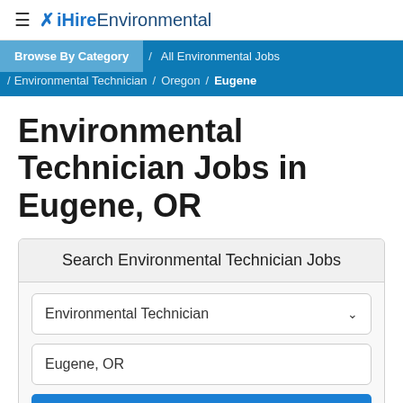iHireEnvironmental
Browse By Category / All Environmental Jobs / Environmental Technician / Oregon / Eugene
Environmental Technician Jobs in Eugene, OR
Search Environmental Technician Jobs
Environmental Technician
Eugene, OR
Search